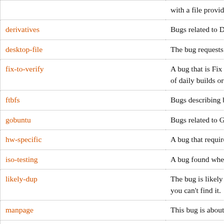| Tag | Description |
| --- | --- |
| derivatives | Bugs related to Derivatives. |
| desktop-file | The bug requests the addition/fix of |
| fix-to-verify | A bug that is Fix Released and should be verified. Verification can be done by installing the bug fix as part of daily builds or milestones. |
| ftbfs | Bugs describing build failures of pac |
| gobuntu | Bugs related to Gobuntu. |
| hw-specific | A bug that requires a specific piece |
| iso-testing | A bug found when performing iso te |
| likely-dup | The bug is likely a duplicate of another bug, but the original bug is not clear or you can't find it. |
| manpage | This bug is about a package's manp |
| metabug | This bug has a high probability of du |
| multiarch | This bug is due to an issue with the multiarch support, it can be a problem at build time, install time, or run time i |
| nautilus-desktop-icons | Bugs related to the Nautilus desktop, specifically about the display of icons. |
| needs-devrelease-testing | A bug that existed in a previous release that needs to be confirmed in the latest development release. |
| needs- | A bug that was reported about the |